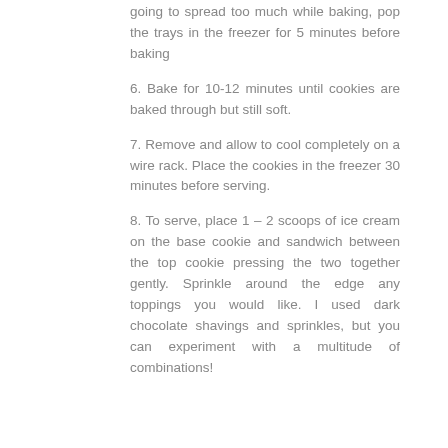going to spread too much while baking, pop the trays in the freezer for 5 minutes before baking
6. Bake for 10-12 minutes until cookies are baked through but still soft.
7. Remove and allow to cool completely on a wire rack. Place the cookies in the freezer 30 minutes before serving.
8. To serve, place 1 – 2 scoops of ice cream on the base cookie and sandwich between the top cookie pressing the two together gently. Sprinkle around the edge any toppings you would like. I used dark chocolate shavings and sprinkles, but you can experiment with a multitude of combinations!